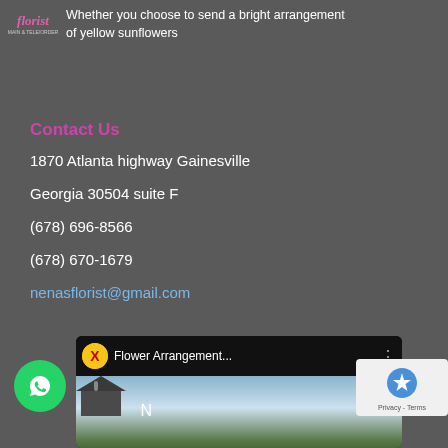[Figure (logo): Florist logo with cursive pink text and subtitle]
Whether you choose to send a bright arrangement of yellow sunflowers
Contact Us
1870 Atlanta highway Gainesville
Georgia 30504 suite F
(678) 696-8566
(678) 670-1679
nenasflorist@gmail.com
[Figure (screenshot): YouTube video thumbnail showing 'Flower Arrangement...' with a yellow X logo avatar, and a scene with letter N and a building]
[Figure (illustration): Green WhatsApp button with phone icon]
[Figure (illustration): reCAPTCHA logo with Privacy - Terms text]